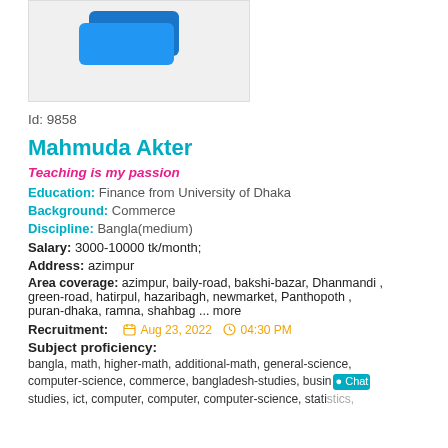[Figure (logo): Blue layered card/document logo on light gray background]
Id: 9858
Mahmuda Akter
Teaching is my passion
Education: Finance from University of Dhaka
Background: Commerce
Discipline: Bangla(medium)
Salary: 3000-10000 tk/month;
Address: azimpur
Area coverage: azimpur, baily-road, bakshi-bazar, Dhanmandi , green-road, hatirpul, hazaribagh, newmarket, Panthopoth , puran-dhaka, ramna, shahbag ... more
Recruitment: Aug 23, 2022  04:30 PM
Subject proficiency:
bangla, math, higher-math, additional-math, general-science, computer-science, commerce, bangladesh-studies, business-studies, ict, computer, computer, computer-science, statistics,